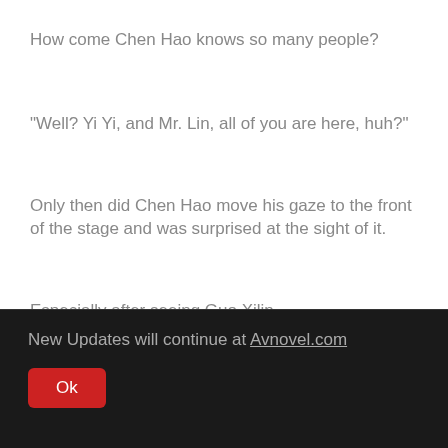How come Chen Hao knows so many people?
"Well? Yi Yi, and Mr. Lin, all of you are here, huh?"
Only then did Chen Hao move his gaze to the front of the stage and was surprised at the sight of it.
Especially after seeing Guo Xilin.
New Updates will continue at Avnovel.com
Ok